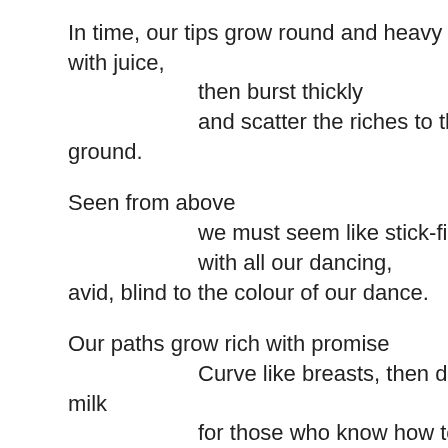In time, our tips grow round and heavy with juice,
        then burst thickly
        and scatter the riches to the ground.

Seen from above
        we must seem like stick-figures
        with all our dancing,
avid, blind to the colour of our dance.

Our paths grow rich with promise
        Curve like breasts, then drip with milk
        for those who know how to tell

boomerangs from the constellations of